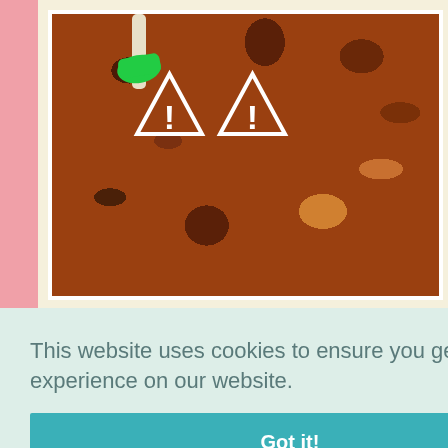[Figure (photo): A cooking pan with food (sausages or meatballs in sauce) being stirred with a green silicone spatula. Two white warning triangle icons with exclamation marks are overlaid on the image.]
This website uses cookies to ensure you get the best experience on our website.
[Figure (photo): A cookie consent banner with a teal 'Got it!' button.]